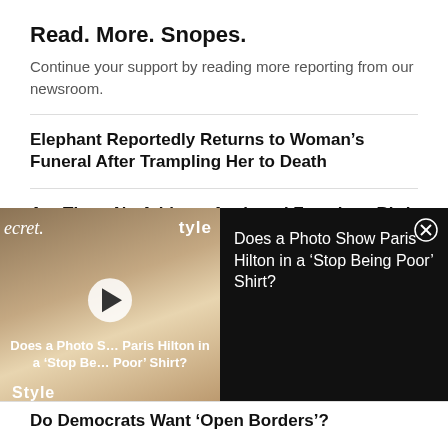Read. More. Snopes.
Continue your support by reading more reporting from our newsroom.
Elephant Reportedly Returns to Woman's Funeral After Trampling Her to Death
Are There No Athletes Assigned Female at Birth Who Transitioned and Competed in Men's Sports?
[Figure (screenshot): Video overlay advertisement: Paris Hilton photo with play button and text 'Does a Photo Show Paris Hilton in a Stop Being Poor Shirt?' with close button]
Do Democrats Want ‘Open Borders’?